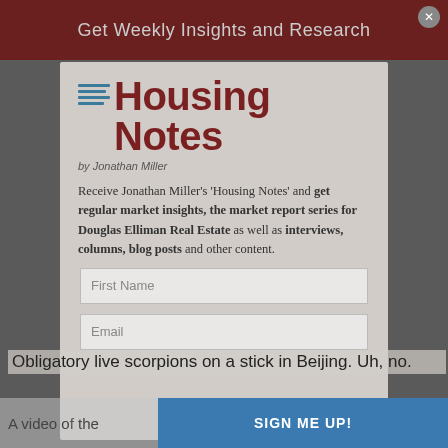Get Weekly Insights and Research
[Figure (logo): Housing Notes by Jonathan Miller logo with teal horizontal lines and dark red bold text]
Receive Jonathan Miller's 'Housing Notes' and get regular market insights, the market report series for Douglas Elliman Real Estate as well as interviews, columns, blog posts and other content.
First Name
Email
Obligatory live scorpions on a stick in Beijing. Uh, no.
A video of the ...